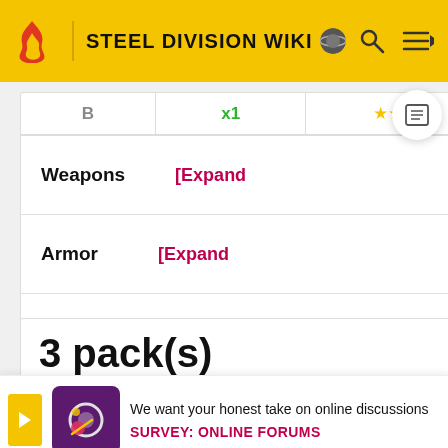STEEL DIVISION WIKI
| B | x1 | ★★ | 19 |
| --- | --- | --- | --- |
| Weapons | [Expand |
| Armor | [Expand |
3 pack(s)
We want your honest take on online discussions
SURVEY: ONLINE FORUMS